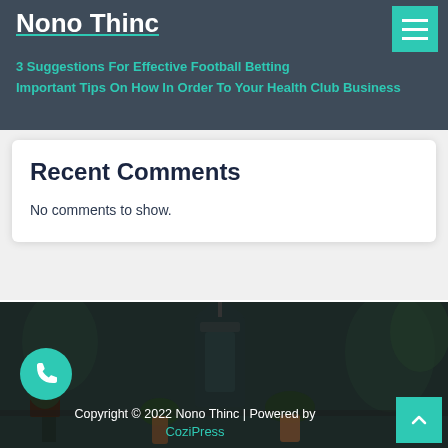Nono Thinc
3 Suggestions For Effective Football Betting
Important Tips On How In Order To Your Health Club Business
Recent Comments
No comments to show.
[Figure (photo): Dark moody photo of potted plants, succulents, and a lantern on a surface, with dark overlay]
Copyright © 2022 Nono Thinc | Powered by CoziPress